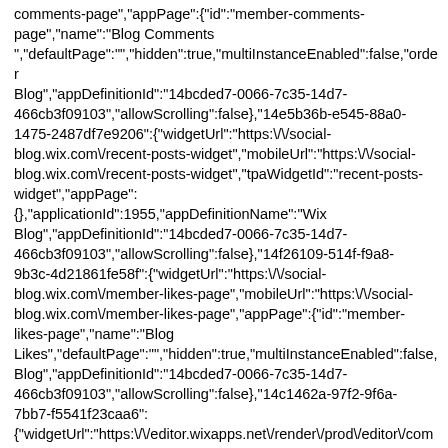comments-page","appPage":{"id":"member-comments-page","name":"Blog Comments","defaultPage":"","hidden":true,"multiInstanceEnabled":false,"order":"Blog","appDefinitionId":"14bcded7-0066-7c35-14d7-466cb3f09103","allowScrolling":false},"14e5b36b-e545-88a0-1475-2487df7e9206":{"widgetUrl":"https:\/\/social-blog.wix.com\/recent-posts-widget","mobileUrl":"https:\/\/social-blog.wix.com\/recent-posts-widget","tpaWidgetId":"recent-posts-widget","appPage":{},"applicationId":1955,"appDefinitionName":"Wix Blog","appDefinitionId":"14bcded7-0066-7c35-14d7-466cb3f09103","allowScrolling":false},"14f26109-514f-f9a8-9b3c-4d21861fe58f":{"widgetUrl":"https:\/\/social-blog.wix.com\/member-likes-page","mobileUrl":"https:\/\/social-blog.wix.com\/member-likes-page","appPage":{"id":"member-likes-page","name":"Blog Likes","defaultPage":"","hidden":true,"multiInstanceEnabled":false,"Blog","appDefinitionId":"14bcded7-0066-7c35-14d7-466cb3f09103","allowScrolling":false},"14c1462a-97f2-9f6a-7bb7-f5541f23caa6":{"widgetUrl":"https:\/\/editor.wixapps.net\/render\/prod\/editor\/comblog-ooi\/1.258.0\/Blog","mobileUrl":"https:\/\/editor.wixapps.net\/render\/prod\/editor\/comblog-ooi\/1.258.0\/Blog","appPage":{"id":"blog","name":"Blog","defaultPage":"","hidden":false,"multiIn Blog","appDefinitionId":"14bcded7-0066-7c35-14d7-